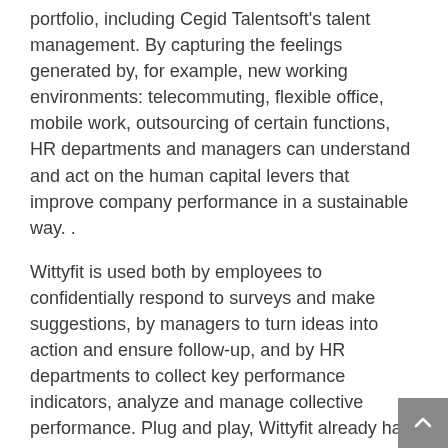portfolio, including Cegid Talentsoft's talent management. By capturing the feelings generated by, for example, new working environments: telecommuting, flexible office, mobile work, outsourcing of certain functions, HR departments and managers can understand and act on the human capital levers that improve company performance in a sustainable way. .
Wittyfit is used both by employees to confidentially respond to surveys and make suggestions, by managers to turn ideas into action and ensure follow-up, and by HR departments to collect key performance indicators, analyze and manage collective performance. Plug and play, Wittyfit already has 120,000 users including teams
Cegid, who are among his customers and will continue to use his solution.
A true management dashboard, Wittyfit was the very first platform in France